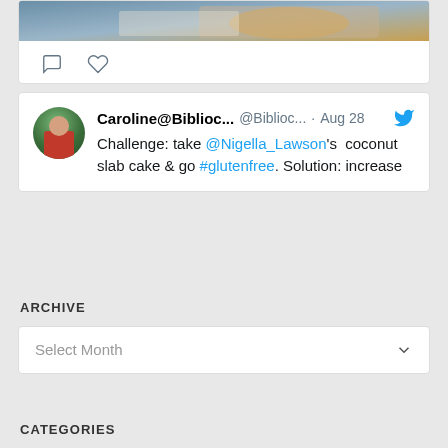[Figure (photo): Partial food photo showing a baked dish on a blue background, cut off at top]
[Figure (screenshot): Tweet by Caroline@Biblioc... (@Biblioc...) dated Aug 28 with Twitter bird icon. Text: Challenge: take @Nigella_Lawson's coconut slab cake & go #glutenfree. Solution: increase]
ARCHIVE
Select Month
CATEGORIES